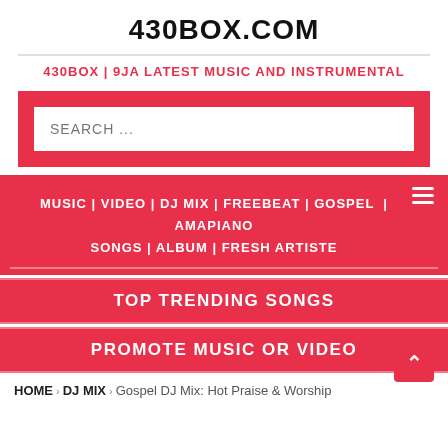430BOX.COM
430BOX | 9JA LATEST MUSIC AND INSTRUMENTAL
[Figure (screenshot): Search input box on red background with placeholder text SEARCH ...]
MUSIC | VIDEO | DJ MIX | FREEBEAT | GOSPEL | AMAPIANO SONGS | ALBUM | FRESH ARTISTE
TOP TRENDING SONGS
PROMOTE MUSIC OR VIDEO
HOME > DJ MIX > Gospel DJ Mix: Hot Praise & Worship Mixtape Vol.1 Hosted by Gospel...